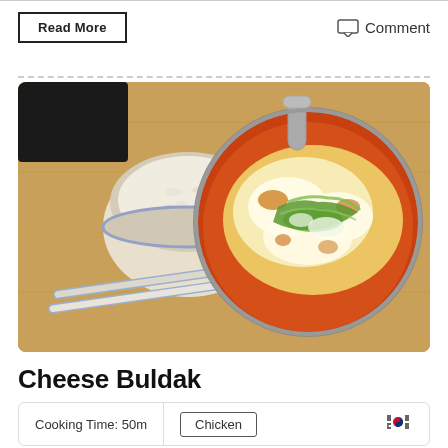Read More
Comment
[Figure (photo): Overhead view of Korean Cheese Buldak in a stainless steel skillet with melted cheese and green onions, alongside a bowl of steamed rice and chopsticks on a wooden board.]
Cheese Buldak
Cooking Time: 50m | Chicken | 🇰🇷